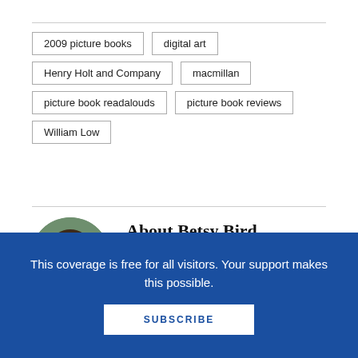2009 picture books
digital art
Henry Holt and Company
macmillan
picture book readalouds
picture book reviews
William Low
About Betsy Bird
Betsy Bird is currently the Collection Development Manager of the Evanston Public Library system and a former Materials Specialist for New
This coverage is free for all visitors. Your support makes this possible.
SUBSCRIBE